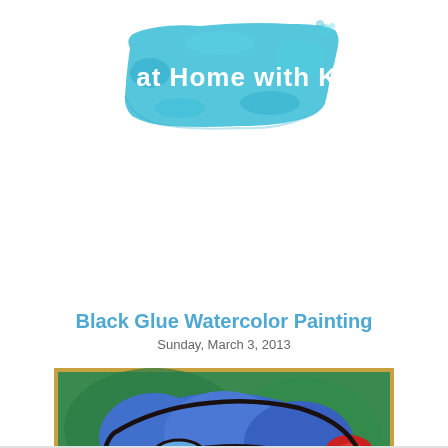[Figure (logo): Blue watercolor brush stroke banner with white text reading 'Fun at Home with Kids']
Black Glue Watercolor Painting
Sunday, March 3, 2013
[Figure (photo): Watercolor painting of a colorful frog with black glue outlines, featuring blue body, yellow belly, red accents, on green background]